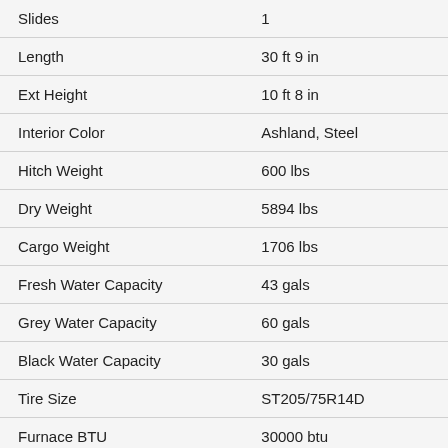| Attribute | Value |
| --- | --- |
| Slides | 1 |
| Length | 30 ft 9 in |
| Ext Height | 10 ft 8 in |
| Interior Color | Ashland, Steel |
| Hitch Weight | 600 lbs |
| Dry Weight | 5894 lbs |
| Cargo Weight | 1706 lbs |
| Fresh Water Capacity | 43 gals |
| Grey Water Capacity | 60 gals |
| Black Water Capacity | 30 gals |
| Tire Size | ST205/75R14D |
| Furnace BTU | 30000 btu |
| Available Beds | Queen |
| Refrigerator Size | 8 cu ft |